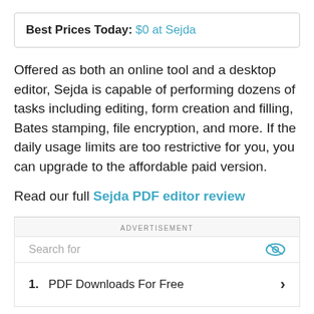Best Prices Today: $0 at Sejda
Offered as both an online tool and a desktop editor, Sejda is capable of performing dozens of tasks including editing, form creation and filling, Bates stamping, file encryption, and more. If the daily usage limits are too restrictive for you, you can upgrade to the affordable paid version.
Read our full Sejda PDF editor review
ADVERTISEMENT
Search for
1.  PDF Downloads For Free